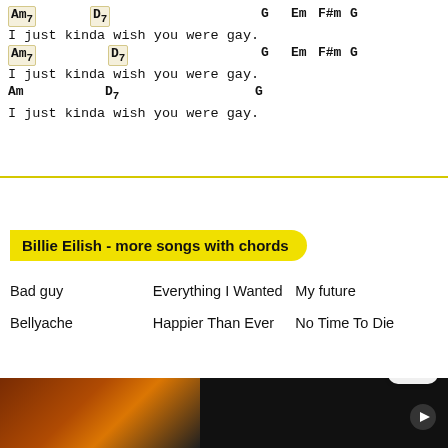Am7   D7   G Em F#m G
I just kinda wish you were gay.
Am7   D7   G Em F#m G
I just kinda wish you were gay.
Am   D7   G
I just kinda wish you were gay.
Billie Eilish - more songs with chords
Bad guy
Bellyache
Everything I Wanted
Happier Than Ever
My future
No Time To Die